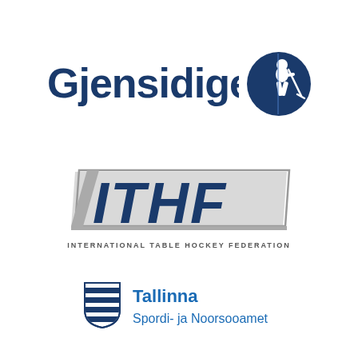[Figure (logo): Gjensidige logo with text 'Gjensidige' in dark blue and a circular icon showing a hockey player silhouette in blue and white]
[Figure (logo): ITHF logo - International Table Hockey Federation, with large italic 'ITHF' letters in blue with grey parallelogram background, and full name below in small caps]
[Figure (logo): Tallinna Spordi- ja Noorsooamet logo with a shield icon with blue horizontal stripes and text 'Tallinna Spordi- ja Noorsooamet' in blue]